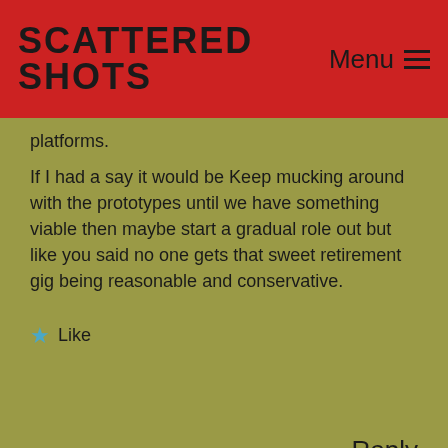Scattered Shots | Menu
platforms.
If I had a say it would be Keep mucking around with the prototypes until we have something viable then maybe start a gradual role out but like you said no one gets that sweet retirement gig being reasonable and conservative.
★ Like
Reply
Advertisements